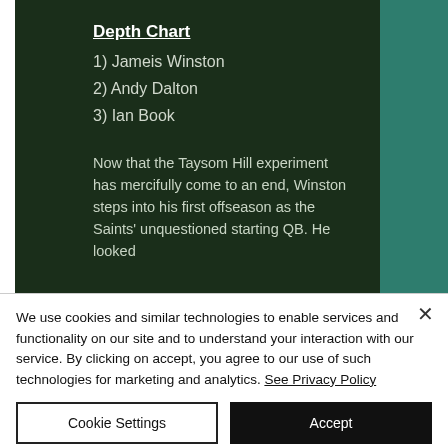Depth Chart
1) Jameis Winston
2) Andy Dalton
3) Ian Book
Now that the Taysom Hill experiment has mercifully come to an end, Winston steps into his first offseason as the Saints' unquestiond starting QB. He looked
We use cookies and similar technologies to enable services and functionality on our site and to understand your interaction with our service. By clicking on accept, you agree to our use of such technologies for marketing and analytics. See Privacy Policy
Cookie Settings
Accept